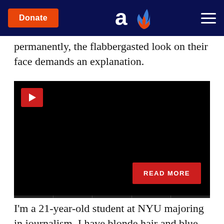Donate | [Aish logo] | [Menu]
permanently, the flabbergasted look on their face demands an explanation.
[Figure (screenshot): Embedded video player with black screen, red play button in top left corner, red READ MORE button in bottom right, and progress bar segments at bottom]
I'm a 21-year-old student at NYU majoring in journalism. I have blonde hair and blue eyes. I come from the